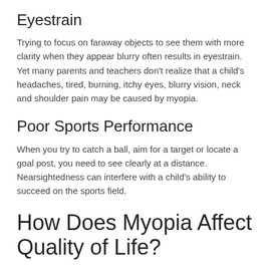Eyestrain
Trying to focus on faraway objects to see them with more clarity when they appear blurry often results in eyestrain. Yet many parents and teachers don't realize that a child's headaches, tired, burning, itchy eyes, blurry vision, neck and shoulder pain may be caused by myopia.
Poor Sports Performance
When you try to catch a ball, aim for a target or locate a goal post, you need to see clearly at a distance. Nearsightedness can interfere with a child's ability to succeed on the sports field.
How Does Myopia Affect Quality of Life?
Myopia isn't just about difficulty seeing faraway objects. Rapidly progressing myopia increases a child's risk of developing serious eye conditions in the future. They